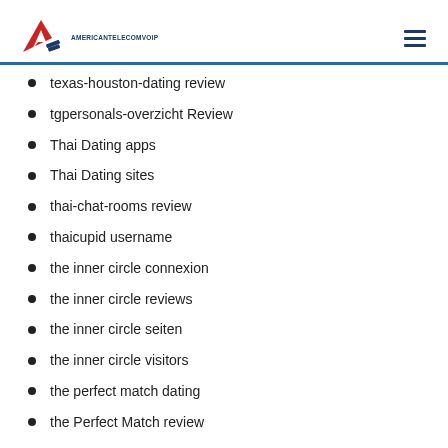AMERICANTELECOMVOIP
texas-houston-dating review
tgpersonals-overzicht Review
Thai Dating apps
Thai Dating sites
thai-chat-rooms review
thaicupid username
the inner circle connexion
the inner circle reviews
the inner circle seiten
the inner circle visitors
the perfect match dating
the Perfect Match review